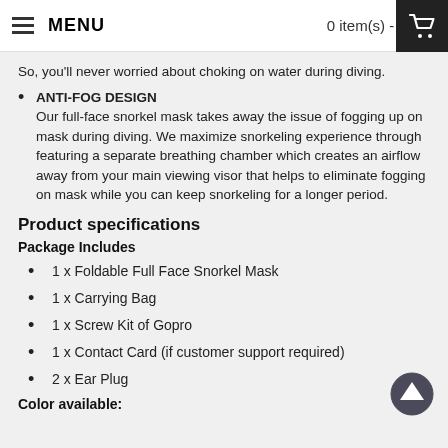MENU   0 item(s) - $0.00
So, you'll never worried about choking on water during diving.
ANTI-FOG DESIGN
Our full-face snorkel mask takes away the issue of fogging up on mask during diving. We maximize snorkeling experience through featuring a separate breathing chamber which creates an airflow away from your main viewing visor that helps to eliminate fogging on mask while you can keep snorkeling for a longer period.
Product specifications
Package Includes
1 x Foldable Full Face Snorkel Mask
1 x Carrying Bag
1 x Screw Kit of Gopro
1 x Contact Card (if customer support required)
2 x Ear Plug
Color available: